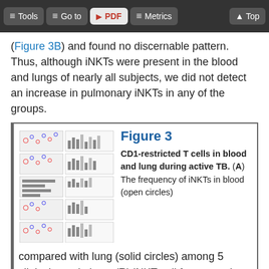Tools | Go to | PDF | Metrics | Top
(Figure 3B) and found no discernable pattern. Thus, although iNKTs were present in the blood and lungs of nearly all subjects, we did not detect an increase in pulmonary iNKTs in any of the groups.
[Figure (illustration): Scientific figure showing flow cytometry plots and bar charts for CD1-restricted T cells in blood and lung during active TB, with multiple panel rows showing frequency comparisons across clinical populations.]
Figure 3 CD1-restricted T cells in blood and lung during active TB. (A) The frequency of iNKTs in blood (open circles) compared with lung (solid circles) among 5 clinical populations. (B) iNKT cell frequency in paired lung and blood samples, stratified by HIV status for subjects with active TB. Each